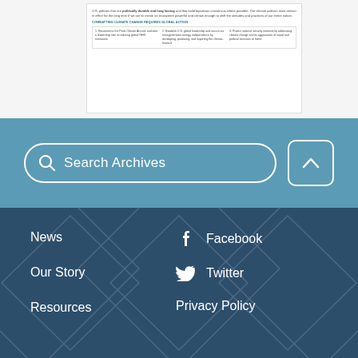[Figure (screenshot): Document preview showing text about U.S. policies that are politically durable and long lasting and that build bipartisan consensus where possible. Subheader: COMBATTING CLIMATE CHANGE REQUIRES GLOBAL ACTION. Three columns: 1. Recommit to the Paris Climate Accord, and take a leadership role in reducing global GHG emissions. 2. Establish U.S. global leadership and secure our next-generation energy independence by developing, producing, and exporting the climate-forward. 3. Protect national security interests by addressing climate change and its aggravation of social and political stressors at home.]
Search Archives
News
Our Story
Resources
Facebook
Twitter
Privacy Policy